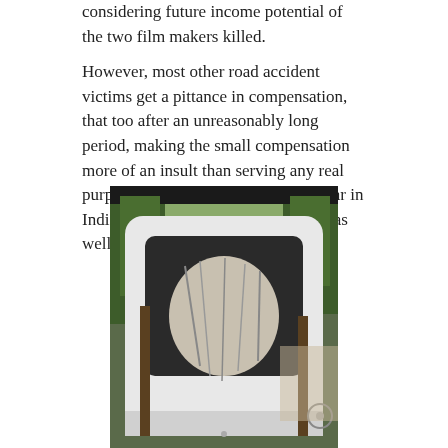considering future income potential of the two film makers killed.
However, most other road accident victims get a pittance in compensation, that too after an unreasonably long period, making the small compensation more of an insult than serving any real purpose. Situation is somewhat similar in India and most developing countries as well.
[Figure (photo): Photograph of a severely damaged white vehicle cabin/cab, viewed from the rear with the back door open or destroyed, revealing crumpled metal interior. Trees are visible in the background and a bicycle can be seen to the right.]